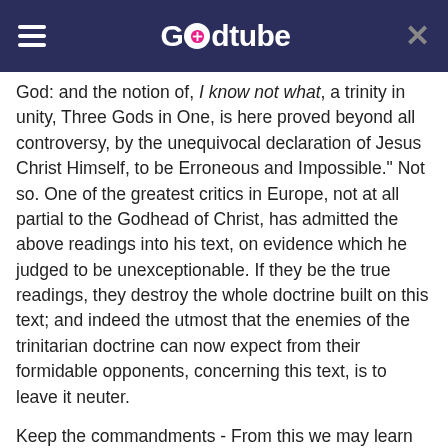Godtube
God: and the notion of, I know not what, a trinity in unity, Three Gods in One, is here proved beyond all controversy, by the unequivocal declaration of Jesus Christ Himself, to be Erroneous and Impossible." Not so. One of the greatest critics in Europe, not at all partial to the Godhead of Christ, has admitted the above readings into his text, on evidence which he judged to be unexceptionable. If they be the true readings, they destroy the whole doctrine built on this text; and indeed the utmost that the enemies of the trinitarian doctrine can now expect from their formidable opponents, concerning this text, is to leave it neuter.
Keep the commandments - From this we may learn that God's great design, in giving his law to the Jews, was to lead them to the expectation and enjoyment of eternal life. But as all the law referred to Christ, and he became the end of the law for righteousness (justification) to all that believe, so he is to be